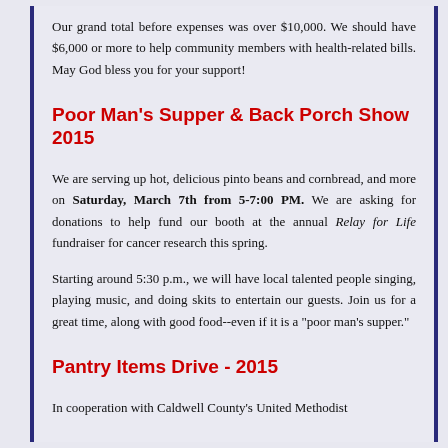Our grand total before expenses was over $10,000. We should have $6,000 or more to help community members with health-related bills. May God bless you for your support!
Poor Man's Supper & Back Porch Show 2015
We are serving up hot, delicious pinto beans and cornbread, and more on Saturday, March 7th from 5-7:00 PM. We are asking for donations to help fund our booth at the annual Relay for Life fundraiser for cancer research this spring.
Starting around 5:30 p.m., we will have local talented people singing, playing music, and doing skits to entertain our guests. Join us for a great time, along with good food--even if it is a "poor man's supper."
Pantry Items Drive - 2015
In cooperation with Caldwell County's United Methodist